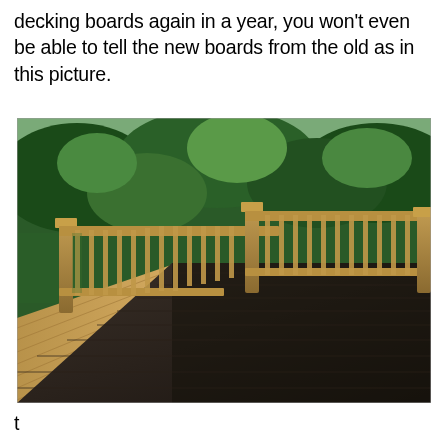decking boards again in a year, you won't even be able to tell the new boards from the old as in this picture.
[Figure (photo): Outdoor wooden deck with brown railing and balusters. The deck boards show a contrast between newly stained dark (almost black) boards in the foreground/right and lighter unstained boards on the left side. Green trees are visible in the background.]
t...